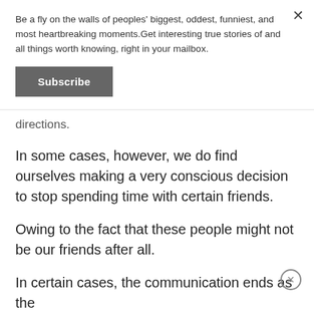Be a fly on the walls of peoples' biggest, oddest, funniest, and most heartbreaking moments.Get interesting true stories of and all things worth knowing, right in your mailbox.
Subscribe
directions.
In some cases, however, we do find ourselves making a very conscious decision to stop spending time with certain friends.
Owing to the fact that these people might not be our friends after all.
In certain cases, the communication ends as the result of one specific moment.